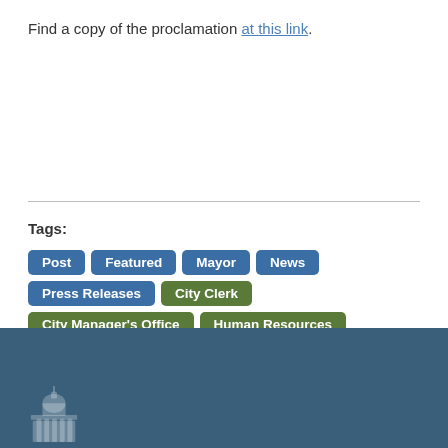Find a copy of the proclamation at this link.
Tags: Post | Featured | Mayor | News | Press Releases | City Clerk | City Manager's Office | Human Resources | Asheville COVID-19
[Figure (other): Government building / capitol dome icon in white, displayed in dark blue footer bar]